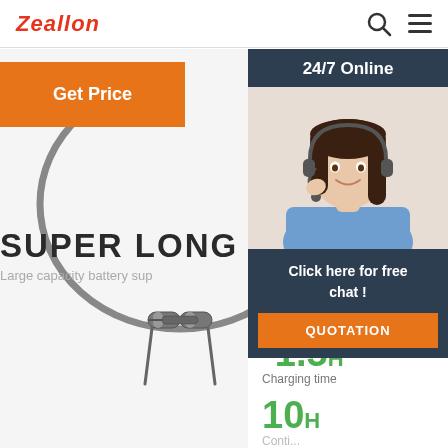Zeallon
[Figure (screenshot): Zeallon brand website screenshot showing a product page for wireless neckband earphones with Get Price button, 24/7 Online chat widget with customer support representative photo, super long use time heading, charging time stat (~1.5h), and continuous play stat (10h)]